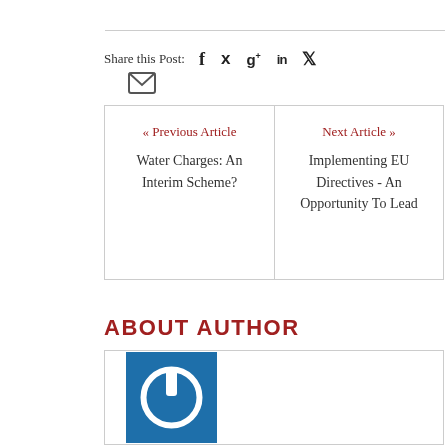Share this Post:
[Figure (infographic): Social share icons: Facebook (f), Twitter (bird), Google+ (g+), LinkedIn (in), Pinterest (P), and email envelope icon]
« Previous Article
Water Charges: An Interim Scheme?
Next Article »
Implementing EU Directives - An Opportunity To Lead
ABOUT AUTHOR
[Figure (logo): Blue square with white power button icon — Cormac O'Sullivan author avatar]
Cormac O'Sullivan